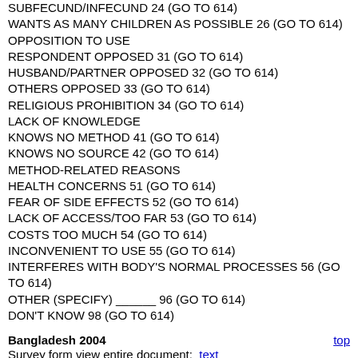SUBFECUND/INFECUND 24 (GO TO 614)
WANTS AS MANY CHILDREN AS POSSIBLE 26 (GO TO 614)
OPPOSITION TO USE
RESPONDENT OPPOSED 31 (GO TO 614)
HUSBAND/PARTNER OPPOSED 32 (GO TO 614)
OTHERS OPPOSED 33 (GO TO 614)
RELIGIOUS PROHIBITION 34 (GO TO 614)
LACK OF KNOWLEDGE
KNOWS NO METHOD 41 (GO TO 614)
KNOWS NO SOURCE 42 (GO TO 614)
METHOD-RELATED REASONS
HEALTH CONCERNS 51 (GO TO 614)
FEAR OF SIDE EFFECTS 52 (GO TO 614)
LACK OF ACCESS/TOO FAR 53 (GO TO 614)
COSTS TOO MUCH 54 (GO TO 614)
INCONVENIENT TO USE 55 (GO TO 614)
INTERFERES WITH BODY'S NORMAL PROCESSES 56 (GO TO 614)
OTHER (SPECIFY) ______ 96 (GO TO 614)
DON'T KNOW 98 (GO TO 614)
Bangladesh 2004    top
Survey form view entire document:  text
607) CHECK 602: